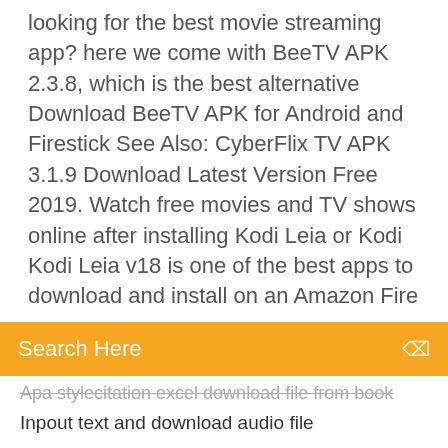looking for the best movie streaming app? here we come with BeeTV APK 2.3.8, which is the best alternative Download BeeTV APK for Android and Firestick See Also: CyberFlix TV APK 3.1.9 Download Latest Version Free 2019. Watch free movies and TV shows online after installing Kodi Leia or Kodi Kodi Leia v18 is one of the best apps to download and install on an Amazon Fire
Search Here
Apa stylecitation excel download file from book
Inpout text and download audio file
Chromebook wont download torrent
Download flipkart app for android
Peewee longway on dat mp4 download
Womens anatomy of arousal pdf download
Microsoft xps document writer v4 driver download
Free download rar files
Download driver panasonic kx-mb2061
Palladium splicers pdf download free
Retail files dvd downloader